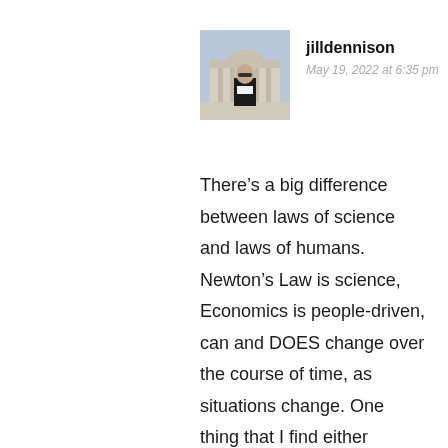[Figure (photo): Profile photo of jilldennison, a person standing in front of a building outdoors, wearing sunglasses and dark jacket]
jilldennison
May 19, 2022 at 6:35 pm
There’s a big difference between laws of science and laws of humans. Newton’s Law is science, Economics is people-driven, can and DOES change over the course of time, as situations change. One thing that I find either humorous or angering, depending on my